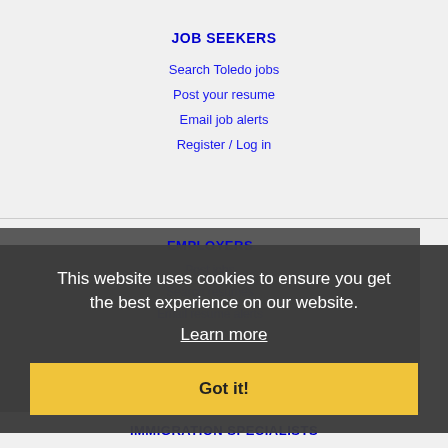JOB SEEKERS
Search Toledo jobs
Post your resume
Email job alerts
Register / Log in
EMPLOYERS
Post jobs
Search resumes
Email resume alerts
Advertise
This website uses cookies to ensure you get the best experience on our website.
Learn more
Got it!
IMMIGRATION SPECIALISTS